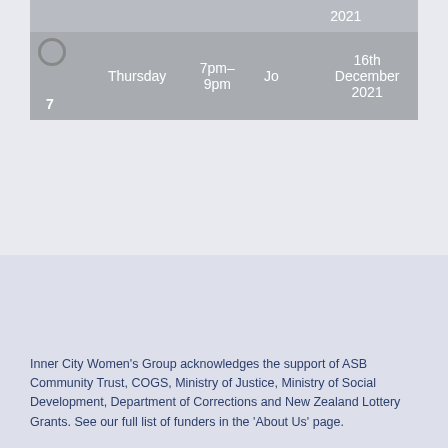| # | Day | Time | Facilitator |  | Date |
| --- | --- | --- | --- | --- | --- |
|  |  |  |  |  | 2021 |
| 7 | Thursday | 7pm-9pm | Jo |  | 16th December 2021 |
Inner City Women's Group acknowledges the support of ASB Community Trust, COGS, Ministry of Justice, Ministry of Social Development, Department of Corrections and New Zealand Lottery Grants. See our full list of funders in the 'About Us' page.